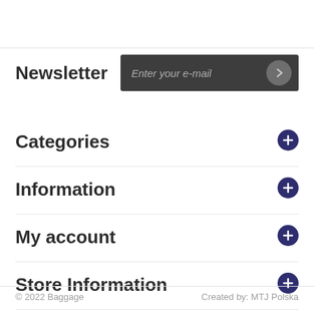Newsletter
Categories
Information
My account
Store Information
© 2022 Baggage   Created by: MTJ Polska